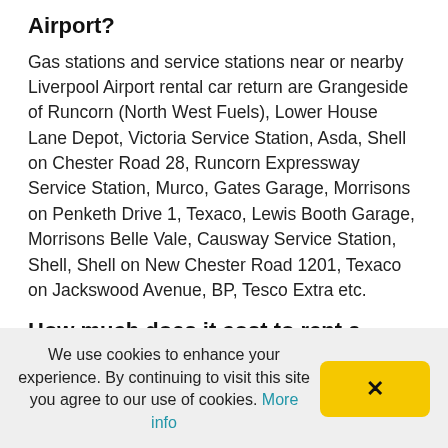Airport?
Gas stations and service stations near or nearby Liverpool Airport rental car return are Grangeside of Runcorn (North West Fuels), Lower House Lane Depot, Victoria Service Station, Asda, Shell on Chester Road 28, Runcorn Expressway Service Station, Murco, Gates Garage, Morrisons on Penketh Drive 1, Texaco, Lewis Booth Garage, Morrisons Belle Vale, Causway Service Station, Shell, Shell on New Chester Road 1201, Texaco on Jackswood Avenue, BP, Tesco Extra etc.
How much does it cost to rent a minibus at Liverpool Airport?
How much it costs to rent a 9-seater minibus at Liverpool Airport depends on the time of year and the supply of buses etc. Near Liverpool Airport you can find a 9-seater minibus from about £ 51 / day. Do a search with Autoprio.com and easily find all current prices for minibuses right now. The price for the minibus shown is
We use cookies to enhance your experience. By continuing to visit this site you agree to our use of cookies. More info